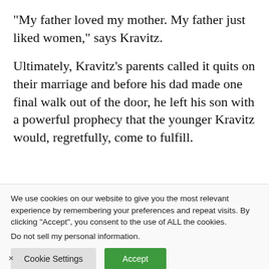“My father loved my mother. My father just liked women,” says Kravitz.
Ultimately, Kravitz’s parents called it quits on their marriage and before his dad made one final walk out of the door, he left his son with a powerful prophecy that the younger Kravitz would, regretfully, come to fulfill.
We use cookies on our website to give you the most relevant experience by remembering your preferences and repeat visits. By clicking “Accept”, you consent to the use of ALL the cookies.
Do not sell my personal information.
Cookie Settings
Accept
×